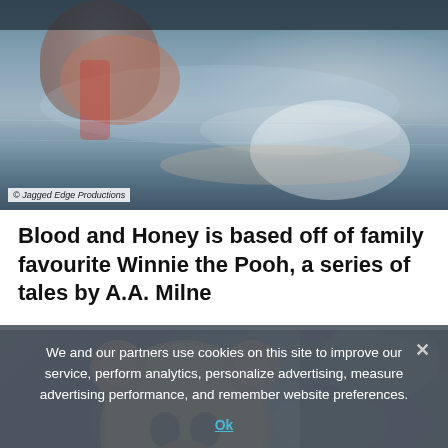[Figure (photo): A scene from the film showing a person in water, dark pool setting, underwater lighting]
© Jagged Edge Productions
Blood and Honey is based off of family favourite Winnie the Pooh, a series of tales by A.A. Milne
[Figure (photo): A horror movie creature resembling a bear mask/costume face looking upward, moody dark background]
We and our partners use cookies on this site to improve our service, perform analytics, personalize advertising, measure advertising performance, and remember website preferences.
Ok